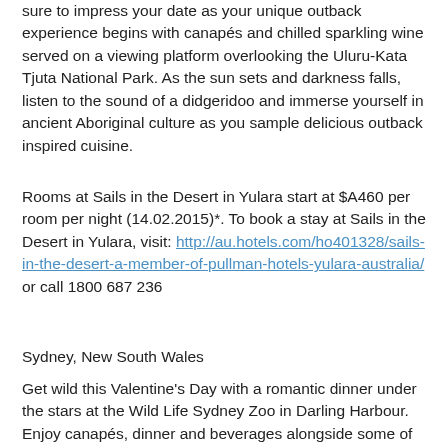sure to impress your date as your unique outback experience begins with canapés and chilled sparkling wine served on a viewing platform overlooking the Uluru-Kata Tjuta National Park. As the sun sets and darkness falls, listen to the sound of a didgeridoo and immerse yourself in ancient Aboriginal culture as you sample delicious outback inspired cuisine.
Rooms at Sails in the Desert in Yulara start at $A460 per room per night (14.02.2015)*. To book a stay at Sails in the Desert in Yulara, visit: http://au.hotels.com/ho401328/sails-in-the-desert-a-member-of-pullman-hotels-yulara-australia/ or call 1800 687 236
Sydney, New South Wales
Get wild this Valentine's Day with a romantic dinner under the stars at the Wild Life Sydney Zoo in Darling Harbour. Enjoy canapés, dinner and beverages alongside some of Sydney's cutest Koala's, Wallabies and Kangaroos. If you would prefer something a little more intimate, why not soak up the ambience and style of Woolloomooloo Wharf and